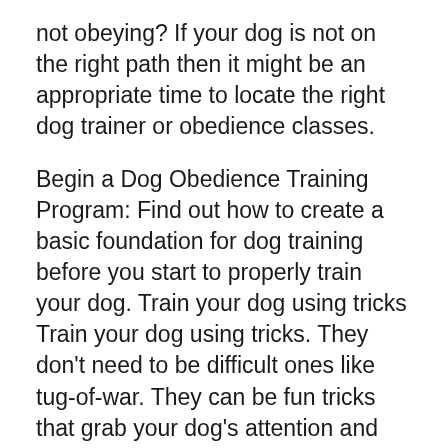not obeying? If your dog is not on the right path then it might be an appropriate time to locate the right dog trainer or obedience classes.
Begin a Dog Obedience Training Program: Find out how to create a basic foundation for dog training before you start to properly train your dog. Train your dog using tricks Train your dog using tricks. They don't need to be difficult ones like tug-of-war. They can be fun tricks that grab your dog's attention and stimulate their senses. This will get them excited about learning.
Help Your Dog Learn Obedience Every Time It is the most important aspect in dog-training. It's not required to teach every single day.